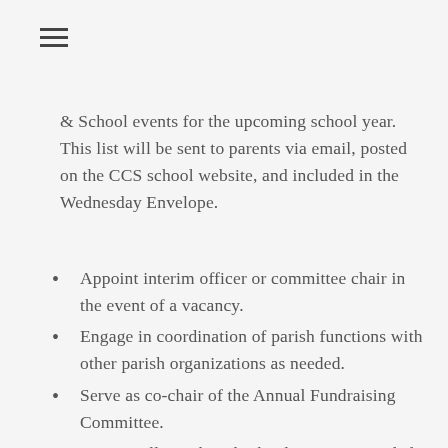[Figure (other): Hamburger menu icon (three horizontal lines)]
& School events for the upcoming school year. This list will be sent to parents via email, posted on the CCS school website, and included in the Wednesday Envelope.
Appoint interim officer or committee chair in the event of a vacancy.
Engage in coordination of parish functions with other parish organizations as needed.
Serve as co-chair of the Annual Fundraising Committee.
Support all parish and school events as needed.